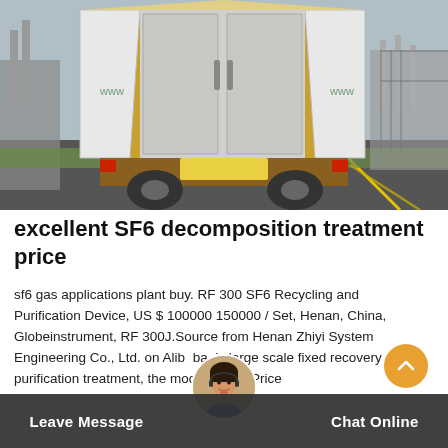[Figure (photo): Rear view of a large truck with open cargo doors carrying industrial equipment, parked on a road near an electrical substation or industrial facility. The truck has a yellow/orange frame with white panels open on both sides.]
excellent SF6 decomposition treatment price
sf6 gas applications plant buy. RF 300 SF6 Recycling and Purification Device, US $ 100000 150000 / Set, Henan, China, Globeinstrument, RF 300J.Source from Henan Zhiyi System Engineering Co., Ltd. on Alibaba. is large scale fixed recovery and purification treatment, the modular. Get Price